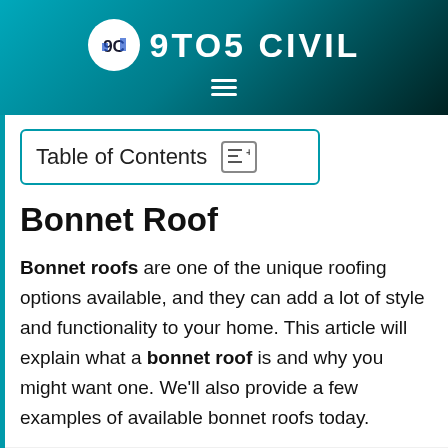9TO5 CIVIL
Table of Contents
Bonnet Roof
Bonnet roofs are one of the unique roofing options available, and they can add a lot of style and functionality to your home. This article will explain what a bonnet roof is and why you might want one. We'll also provide a few examples of available bonnet roofs today.